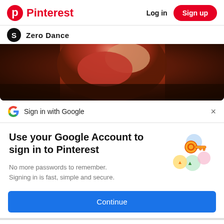Pinterest  Log in  Sign up
Zero Dance
[Figure (photo): A person wearing a red outfit, photo partially cropped, dark background]
Sign in with Google
Use your Google Account to sign in to Pinterest
No more passwords to remember. Signing in is fast, simple and secure.
[Figure (illustration): Google key illustration with colorful circular elements]
Continue